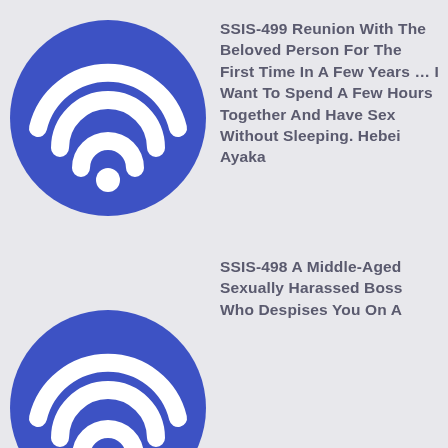[Figure (logo): Blue circle with white WiFi signal icon]
SSIS-499 Reunion With The Beloved Person For The First Time In A Few Years ... I Want To Spend A Few Hours Together And Have Sex Without Sleeping. Hebei Ayaka
[Figure (logo): Blue circle with white WiFi signal icon (partially visible)]
SSIS-498 A Middle-Aged Sexually Harassed Boss Who Despises You On A